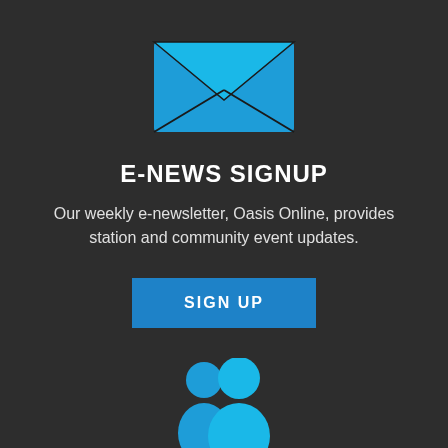[Figure (illustration): Blue envelope icon with diagonal fold lines on dark background]
E-NEWS SIGNUP
Our weekly e-newsletter, Oasis Online, provides station and community event updates.
[Figure (illustration): Blue 'SIGN UP' button]
[Figure (illustration): Blue people/community icon showing two figures]